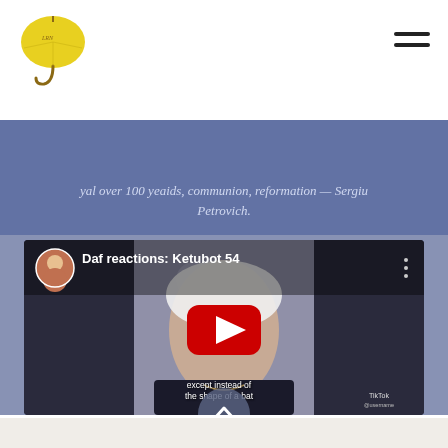Website header with yellow umbrella logo and hamburger menu
yal over 100 yeaids, communion, reformation — Sergiu Petrovich.
[Figure (screenshot): YouTube video thumbnail for 'Daf reactions: Ketubot 54' - a TikTok video embedded on a website showing a blonde woman with subtitle text 'except instead of the shape of a bat'. Red YouTube play button overlay visible.]